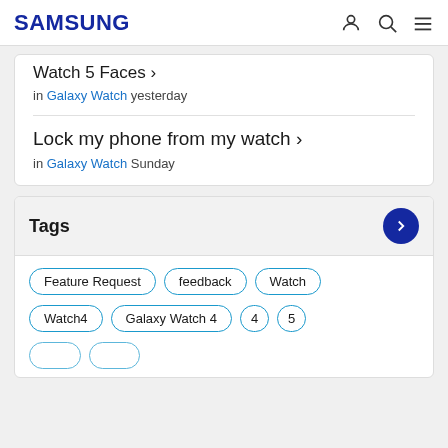SAMSUNG
Watch 5 Faces › in Galaxy Watch yesterday
Lock my phone from my watch › in Galaxy Watch Sunday
Tags
Feature Request
feedback
Watch
Watch4
Galaxy Watch 4
4
5